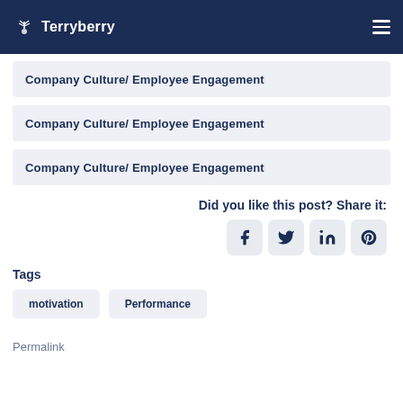Terryberry
Company Culture/ Employee Engagement
Company Culture/ Employee Engagement
Company Culture/ Employee Engagement
Did you like this post? Share it:
Tags
motivation
Performance
Permalink